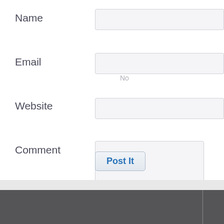Name
Email
No
Website
Comment
Post It
s
Copyright © 2012 Tyrbedart